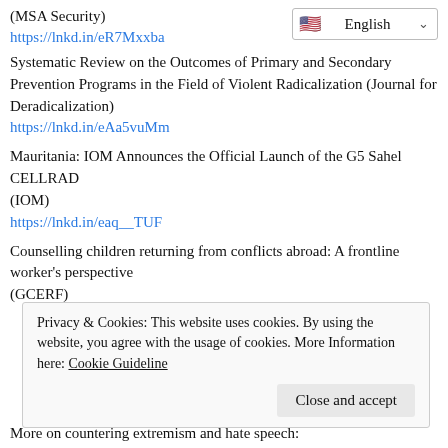(MSA Security)
https://lnkd.in/eR7Mxxba
Systematic Review on the Outcomes of Primary and Secondary Prevention Programs in the Field of Violent Radicalization (Journal for Deradicalization)
https://lnkd.in/eAa5vuMm
Mauritania: IOM Announces the Official Launch of the G5 Sahel CELLRAD
(IOM)
https://lnkd.in/eaq__TUF
Counselling children returning from conflicts abroad: A frontline worker's perspective
(GCERF)
Privacy & Cookies: This website uses cookies. By using the website, you agree with the usage of cookies. More Information here: Cookie Guideline
Close and accept
More on countering extremism and hate speech: